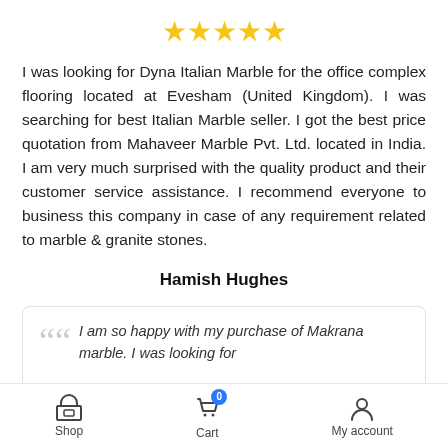[Figure (other): Five gold star rating icons]
I was looking for Dyna Italian Marble for the office complex flooring located at Evesham (United Kingdom). I was searching for best Italian Marble seller. I got the best price quotation from Mahaveer Marble Pvt. Ltd. located in India. I am very much surprised with the quality product and their customer service assistance. I recommend everyone to business this company in case of any requirement related to marble & granite stones.
Hamish Hughes
I am so happy with my purchase of Makrana marble. I was looking for
Shop   Cart   My account